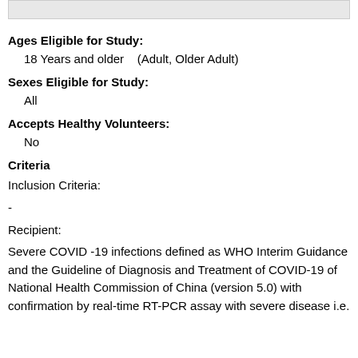Ages Eligible for Study:
18 Years and older   (Adult, Older Adult)
Sexes Eligible for Study:
All
Accepts Healthy Volunteers:
No
Criteria
Inclusion Criteria:
-
Recipient:
Severe COVID -19 infections defined as WHO Interim Guidance and the Guideline of Diagnosis and Treatment of COVID-19 of National Health Commission of China (version 5.0) with confirmation by real-time RT-PCR assay with severe disease i.e.